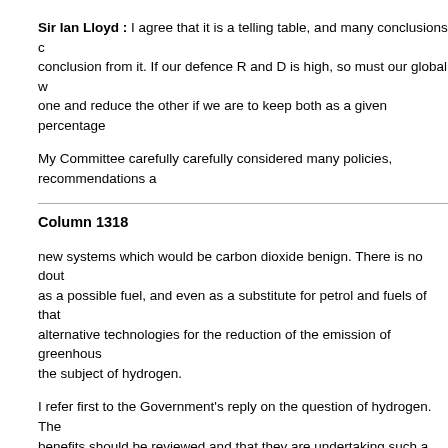Sir Ian Lloyd : I agree that it is a telling table, and many conclusions can be drawn from it. If our defence R and D is high, so must our global weapons expenditure be, or one and reduce the other if we are to keep both as a given percentage...
My Committee carefully considered many policies, recommendations a...
Column 1318
new systems which would be carbon dioxide benign. There is no doubt that hydrogen as a possible fuel, and even as a substitute for petrol and fuels of that kind, is one of the alternative technologies for the reduction of the emission of greenhouse gases. I turn to the subject of hydrogen.
I refer first to the Government's reply on the question of hydrogen. They consider that the benefits should be reviewed and that they are undertaking such a review. They also say: "However, for any impact on CO emissions to acrue from the use of hydrogen, it must come from a non-fossil source."
That is grotesquely inaccurate.
If those who drafted the paper had read the papers that were presented to the conference, one of the most exciting new technologies now being considered is the...
In the context of this paper, there is the suggestion that, if the industrial world were to move, during the next two decades, to a natural gas-based economy, yielding... natural gas into hydrogen would be about 3,000 GW of nuclear electricity... energy economy would then be based completely on hydrogen and, to...
The Government must think again and think carefully about their comm... Friend the former Secretary of State for Energy has followed through w... West Germany, Canada and the United States...